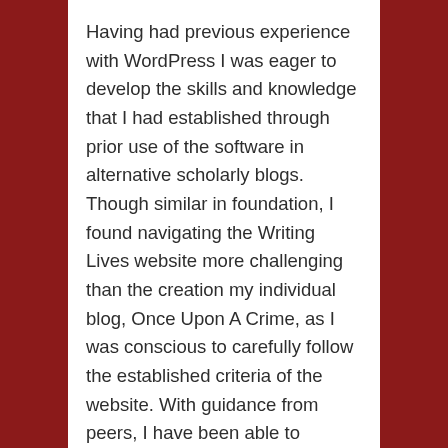Having had previous experience with WordPress I was eager to develop the skills and knowledge that I had established through prior use of the software in alternative scholarly blogs. Though similar in foundation, I found navigating the Writing Lives website more challenging than the creation my individual blog, Once Upon A Crime, as I was conscious to carefully follow the established criteria of the website. With guidance from peers, I have been able to accurately utilise the resources available on Word Press by embedding widgets,